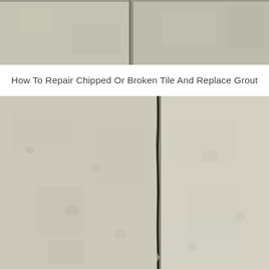[Figure (photo): Close-up photo of ceramic floor tiles from above, showing tile surfaces with grout lines. Tiles are beige/grey with visible texture.]
How To Repair Chipped Or Broken Tile And Replace Grout
[Figure (photo): Close-up photo of two large beige/cream ceramic floor tiles meeting at a grout joint. A dark, cracked or broken grout line runs vertically down the center between the two tiles.]